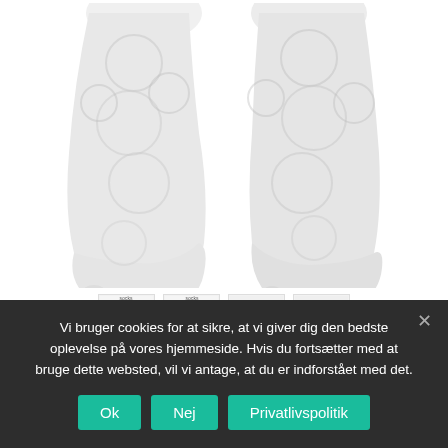[Figure (photo): Two feet wearing white compression socks with grey circular pattern/texture, shown from front on white background]
[Figure (photo): Four small thumbnail images of white socks product shown from different angles]
Vi bruger cookies for at sikre, at vi giver dig den bedste oplevelse på vores hjemmeside. Hvis du fortsætter med at bruge dette websted, vil vi antage, at du er indforstået med det.
Ok
Nej
Privatlivspolitik